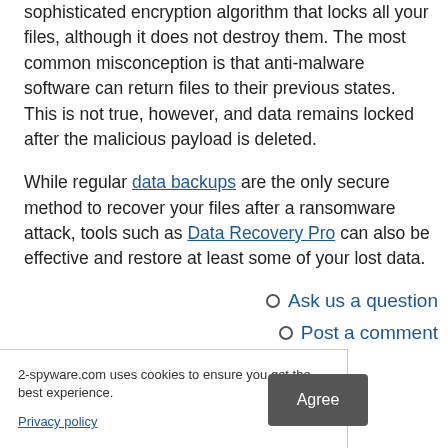sophisticated encryption algorithm that locks all your files, although it does not destroy them. The most common misconception is that anti-malware software can return files to their previous states. This is not true, however, and data remains locked after the malicious payload is deleted.
While regular data backups are the only secure method to recover your files after a ransomware attack, tools such as Data Recovery Pro can also be effective and restore at least some of your lost data.
Ask us a question
Post a comment
2-spyware.com uses cookies to ensure you get the best experience.
Privacy policy
Agree